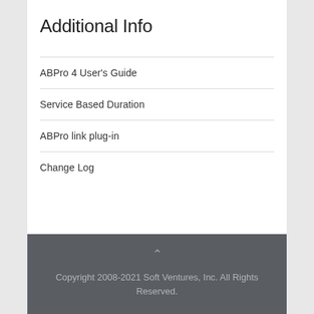Additional Info
ABPro 4 User's Guide
Service Based Duration
ABPro link plug-in
Change Log
Copyright 2008-2021 Soft Ventures, Inc. All Rights Reserved.